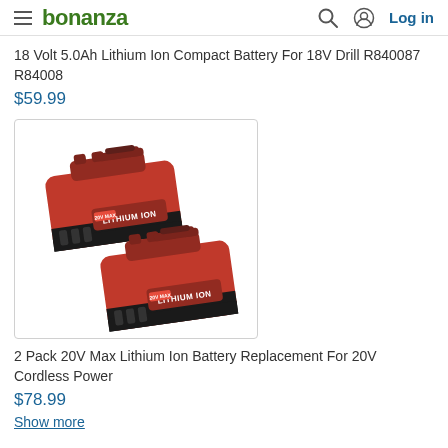bonanza  Log in
18 Volt 5.0Ah Lithium Ion Compact Battery For 18V Drill R840087 R84008
$59.99
[Figure (photo): Two red and black lithium ion battery packs labeled LITHIUM ION, stacked diagonally]
2 Pack 20V Max Lithium Ion Battery Replacement For 20V Cordless Power
$78.99
Show more